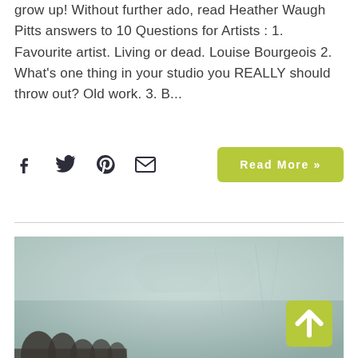grow up! Without further ado, read Heather Waugh Pitts answers to 10 Questions for Artists : 1. Favourite artist. Living or dead. Louise Bourgeois 2. What's one thing in your studio you REALLY should throw out? Old work. 3. B...
[Figure (other): Social sharing icons: Facebook, Twitter, Pinterest, Email]
Read More »
[Figure (photo): A landscape photo with a misty, pale blue-green tinted sky and dark silhouetted trees at the bottom edge]